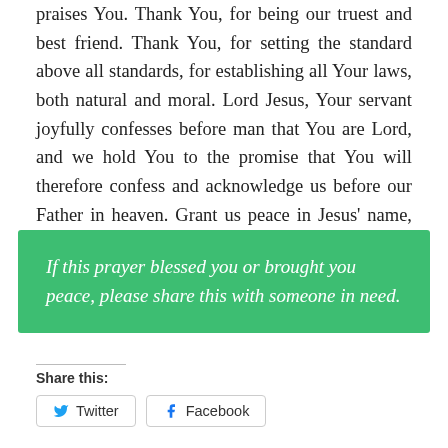praises You. Thank You, for being our truest and best friend. Thank You, for setting the standard above all standards, for establishing all Your laws, both natural and moral. Lord Jesus, Your servant joyfully confesses before man that You are Lord, and we hold You to the promise that You will therefore confess and acknowledge us before our Father in heaven. Grant us peace in Jesus' name, amen.
If this prayer blessed you or brought you peace, please share this with someone in need.
Share this:
Twitter  Facebook